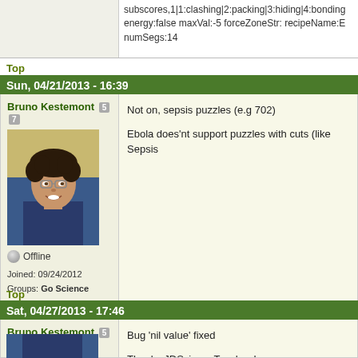subscores,1|1:clashing|2:packing|3:hiding|4:bonding energy:false maxVal:-5 forceZoneStr: recipeName:E numSegs:14
Top
Sun, 04/21/2013 - 16:39
Bruno Kestemont 5 7
[Figure (photo): Profile photo of Bruno Kestemont, a man with curly dark hair and glasses, smiling, wearing a dark shirt]
Offline
Joined: 09/24/2012
Groups: Go Science
Not on, sepsis puzzles (e.g 702)
Ebola does'nt support puzzles with cuts (like Sepsis
Top
Sat, 04/27/2013 - 17:46
Bruno Kestemont 5 7
[Figure (photo): Profile photo of Bruno Kestemont cropped at bottom]
Bug 'nil value' fixed
Thanks JDScienceTeacher !